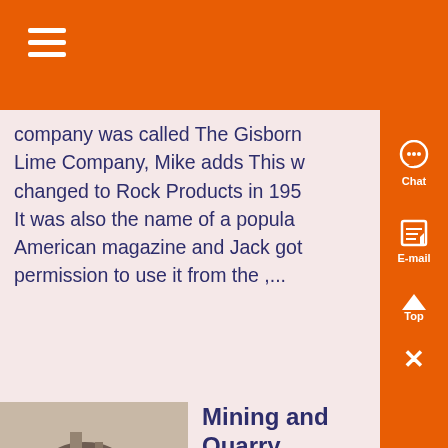company was called The Gisborn Lime Company, Mike adds This w changed to Rock Products in 195 It was also the name of a popula American magazine and Jack got permission to use it from the ,...
[Figure (photo): Black and white photo of mining/quarry equipment machinery]
Mining and Quarry Equipment Finance
Know More
Collect new or used equipment f...